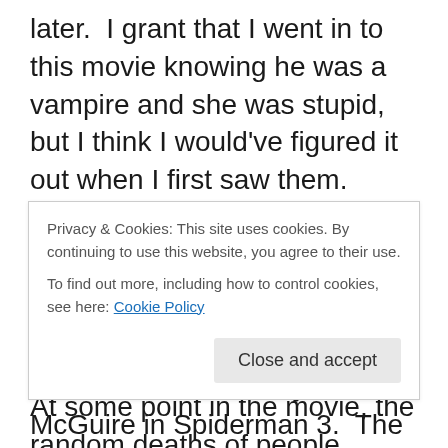later.  I grant that I went in to this movie knowing he was a vampire and she was stupid, but I think I would've figured it out when I first saw them.  Why does everyone in monster movies seemingly live in a world where no one has ever made a monster movie that they can connect the dots to?  At some point in the movie, the random deaths of people around town causes Bella's father to give her a bottle of mace to carry with her, and she seems really put off by this.  YOU JUST ARRIVED HOME FROM A TRIP THAT ALMOST HAD YOU GETTING GANGRAPED!  And THEN...
Privacy & Cookies: This site uses cookies. By continuing to use this website, you agree to their use.
To find out more, including how to control cookies, see here: Cookie Policy
reminded me of Tobey McGuire in Spiderman 3.  The